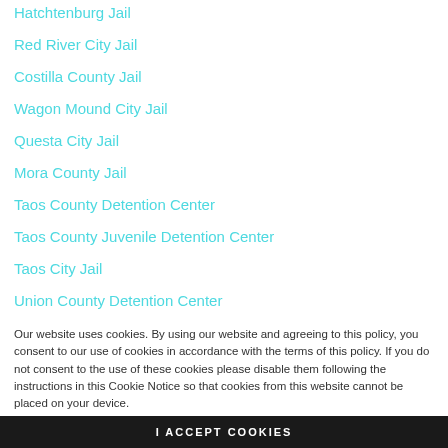Hatchtenburg Jail
Red River City Jail
Costilla County Jail
Wagon Mound City Jail
Questa City Jail
Mora County Jail
Taos County Detention Center
Taos County Juvenile Detention Center
Taos City Jail
Union County Detention Center
Mosquero City Jail
Harding County Detention Center
Our website uses cookies. By using our website and agreeing to this policy, you consent to our use of cookies in accordance with the terms of this policy. If you do not consent to the use of these cookies please disable them following the instructions in this Cookie Notice so that cookies from this website cannot be placed on your device.
I ACCEPT COOKIES